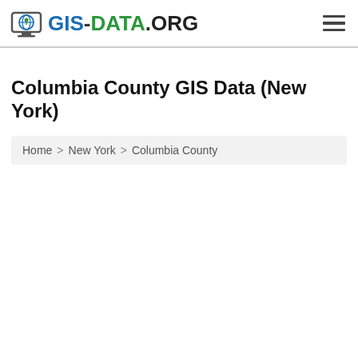GIS-DATA.ORG
Columbia County GIS Data (New York)
Home > New York > Columbia County